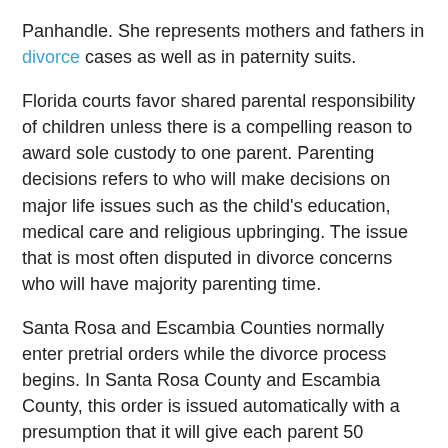Panhandle. She represents mothers and fathers in divorce cases as well as in paternity suits.
Florida courts favor shared parental responsibility of children unless there is a compelling reason to award sole custody to one parent. Parenting decisions refers to who will make decisions on major life issues such as the child's education, medical care and religious upbringing. The issue that is most often disputed in divorce concerns who will have majority parenting time.
Santa Rosa and Escambia Counties normally enter pretrial orders while the divorce process begins. In Santa Rosa County and Escambia County, this order is issued automatically with a presumption that it will give each parent 50 percent (50%) of the overnights with the child. If you do not want a 50/50 child parenting plan while your divorce is in process, it is important to get legal advice as soon as possible.